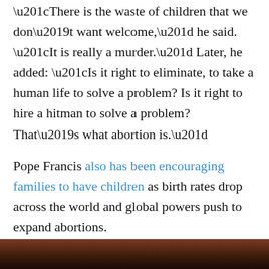“There is the waste of children that we don’t want welcome,” he said. “It is really a murder.” Later, he added: “Is it right to eliminate, to take a human life to solve a problem? Is it right to hire a hitman to solve a problem? That’s what abortion is.”
Pope Francis also has been encouraging families to have children as birth rates drop across the world and global powers push to expand abortions.
“Having a child is always a risk, either naturally or by adoption,” Pope Francis said in January. “But it is riskier not to have them. It is riskier to deny fatherhood or to deny motherhood, be it real or spiritual.”
[Figure (photo): Bottom edge of a photograph, partially visible, showing a dark reddish-brown image of a person.]